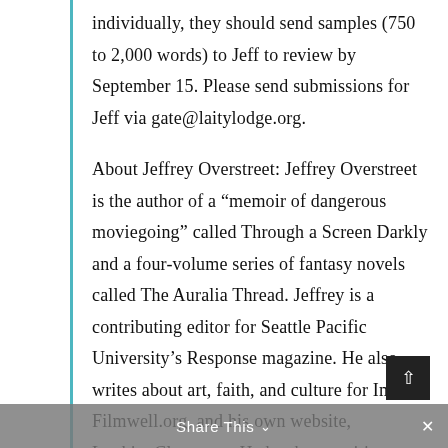individually, they should send samples (750 to 2,000 words) to Jeff to review by September 15. Please send submissions for Jeff via gate@laitylodge.org.
About Jeffrey Overstreet: Jeffrey Overstreet is the author of a “memoir of dangerous moviegoing” called Through a Screen Darkly and a four-volume series of fantasy novels called The Auralia Thread. Jeffrey is a contributing editor for Seattle Pacific University’s Response magazine. He also writes about art, faith, and culture for Image, Filmwell.org, and his own website, LookingCloser.org. He has been writing about movies for Christianity Today for